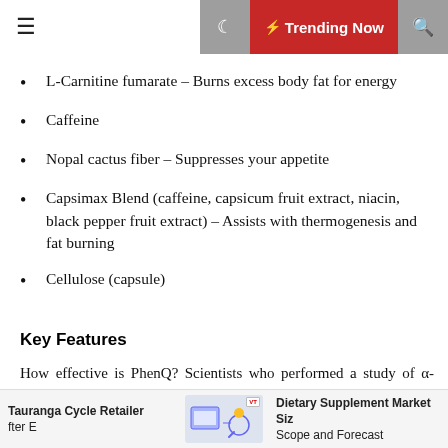Trending Now
L-Carnitine fumarate – Burns excess body fat for energy
Caffeine
Nopal cactus fiber – Suppresses your appetite
Capsimax Blend (caffeine, capsicum fruit extract, niacin, black pepper fruit extract) – Assists with thermogenesis and fat burning
Cellulose (capsule)
Key Features
How effective is PhenQ? Scientists who performed a study of α-Lacys Reset found that the people who took the ingredient had significant weight loss compared to those
Tauranga Cycle Retailer fter E  |  Dietary Supplement Market Siz Scope and Forecast